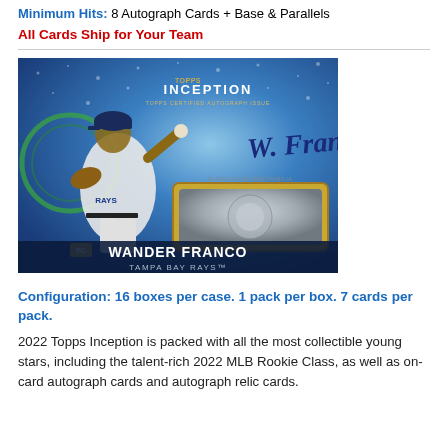Minimum Hits: 8 Autograph Cards + Base & Parallels
All Cards Ship for Your Team
[Figure (photo): Topps Inception autograph relic card featuring Wander Franco of the Tampa Bay Rays, showing the player in a pitching pose with his signature and a jersey relic window on a blue sparkle background.]
Configuration: 16 boxes per case. 1 pack per box. 7 cards per pack.
2022 Topps Inception is packed with all the most collectible young stars, including the talent-rich 2022 MLB Rookie Class, as well as on-card autograph cards and autograph relic cards.